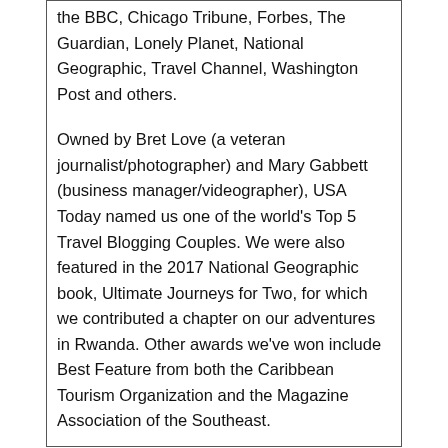the BBC, Chicago Tribune, Forbes, The Guardian, Lonely Planet, National Geographic, Travel Channel, Washington Post and others.
Owned by Bret Love (a veteran journalist/photographer) and Mary Gabbett (business manager/videographer), USA Today named us one of the world's Top 5 Travel Blogging Couples. We were also featured in the 2017 National Geographic book, Ultimate Journeys for Two, for which we contributed a chapter on our adventures in Rwanda. Other awards we've won include Best Feature from both the Caribbean Tourism Organization and the Magazine Association of the Southeast.
[Figure (photo): Colorful Scandinavian-style houses in red, orange, teal, yellow tones]
We're Bret Love & Mary